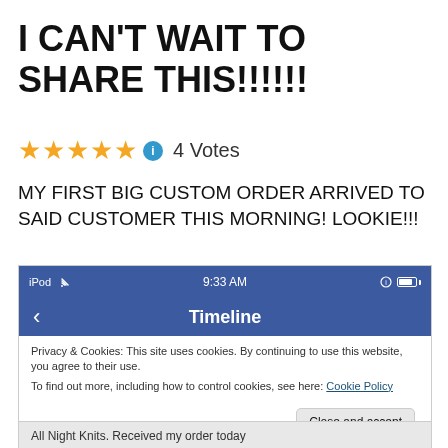I CAN'T WAIT TO SHARE THIS!!!!!!
★★★★★ ℹ 4 Votes
MY FIRST BIG CUSTOM ORDER ARRIVED TO SAID CUSTOMER THIS MORNING! LOOKIE!!!
[Figure (screenshot): Screenshot of an iPod app showing a Facebook-style Timeline interface with a cookie consent notice overlaid. Status bar shows 'iPod', WiFi signal, '9:33 AM', and battery. Navigation bar says 'Timeline' with a back arrow. Cookie notice reads: 'Privacy & Cookies: This site uses cookies. By continuing to use this website, you agree to their use. To find out more, including how to control cookies, see here: Cookie Policy'. A 'Close and accept' button is visible. Bottom shows partial text: 'All Night Knits. Received my order today']